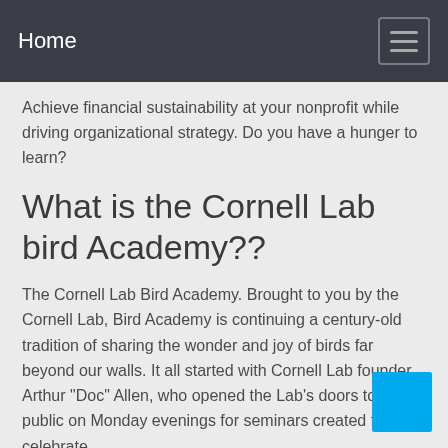Home
Achieve financial sustainability at your nonprofit while driving organizational strategy. Do you have a hunger to learn?
What is the Cornell Lab bird Academy??
The Cornell Lab Bird Academy. Brought to you by the Cornell Lab, Bird Academy is continuing a century-old tradition of sharing the wonder and joy of birds far beyond our walls. It all started with Cornell Lab founder Arthur “Doc” Allen, who opened the Lab’s doors to the public on Monday evenings for seminars created to celebrate...
Popular Search